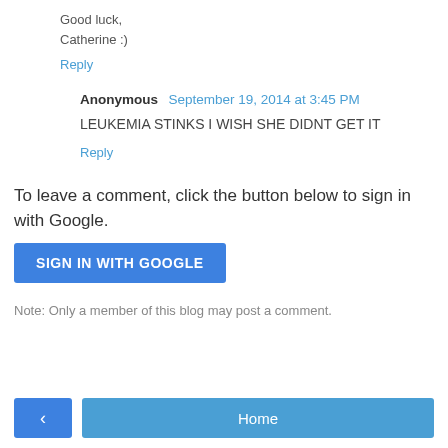Good luck,
Catherine :)
Reply
Anonymous  September 19, 2014 at 3:45 PM
LEUKEMIA STINKS I WISH SHE DIDNT GET IT
Reply
To leave a comment, click the button below to sign in with Google.
SIGN IN WITH GOOGLE
Note: Only a member of this blog may post a comment.
Home